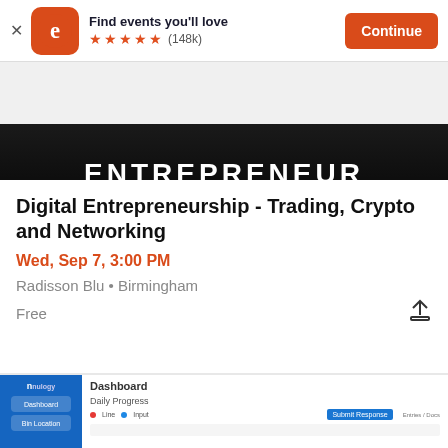[Figure (screenshot): Eventbrite app banner with logo, 'Find events you'll love', 5 stars (148k reviews), and Continue button]
[Figure (photo): Dark background banner image with text 'ENTREPRENEUR' (large, underlined) and 'What Skills Are Required?' below, with a heart/favorite button]
Digital Entrepreneurship - Trading, Crypto and Networking
Wed, Sep 7, 3:00 PM
Radisson Blu • Birmingham
Free
[Figure (screenshot): Nulogy dashboard app screenshot showing 'Dashboard' header, 'Daily Progress' section with legend dots and chart]